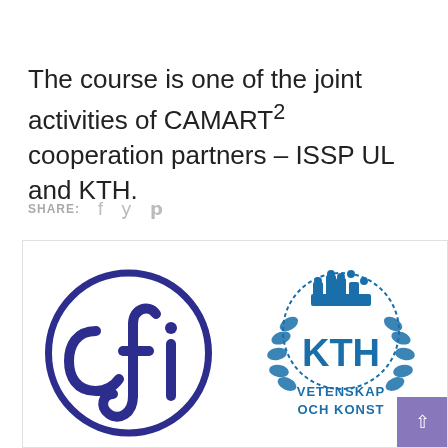The course is one of the joint activities of CAMART² cooperation partners – ISSP UL and KTH.
SHARE:
[Figure (logo): Two logos side by side: left is ISSP UL logo (dark blue circle with stylized 'cfi' lettering), right is KTH logo (dark blue royal crown emblem with oak leaf wreath and text 'KTH VETENSKAP OCH KONST'). A purple scroll-to-top button is visible in the bottom-right corner.]